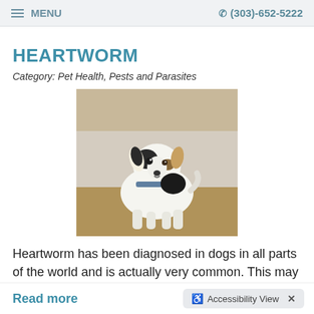MENU   (303)-652-5222
HEARTWORM
Category: Pet Health, Pests and Parasites
[Figure (photo): A small dog (Jack Russell Terrier type) sitting outdoors on sandy/rocky ground, wearing a collar, looking at the camera.]
Heartworm has been diagnosed in dogs in all parts of the world and is actually very common. This may be due to the fact that heartworm has a virtual 100% prevalence rate in unprotected dogs living in highly endemic areas. Heartworm, also known as Dirofilaria immitis, is transmitted by mosquitoes. The
Read more
Accessibility View  ×